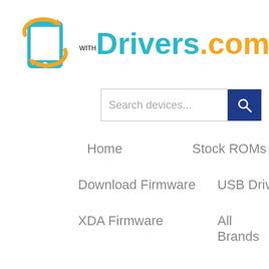[Figure (logo): WithDrivers.com logo featuring a teal smartphone icon with an orange refresh arrow, and the text 'Drivers.com' in teal and orange]
Search devices...
Home
Stock ROMs
Download Firmware
USB Drivers
XDA Firmware
All Brands